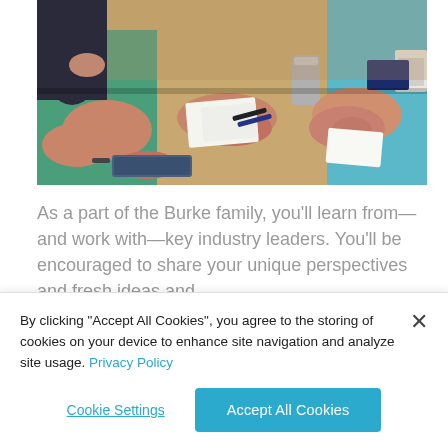[Figure (photo): People seated around a conference table in a classroom or meeting setting, arms resting on table with papers and devices visible]
As a part of the Burke family, you'll learn from—and work with—key industry leaders. You'll be encouraged to share your unique perspectives and fresh ideas and
By clicking "Accept All Cookies", you agree to the storing of cookies on your device to enhance site navigation and analyze site usage. Privacy Policy